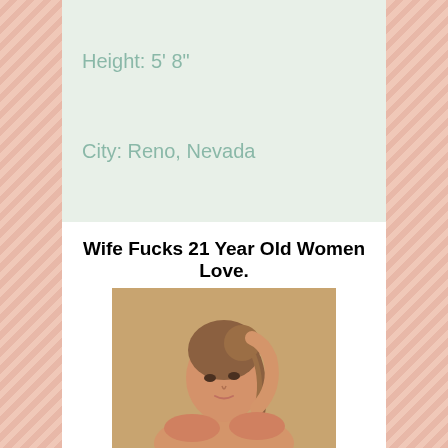Height: 5' 8"
City: Reno, Nevada
Wife Fucks 21 Year Old Women Love.
[Figure (photo): Photo of a woman with light brown hair styled up, looking at the camera, with watermark permeti-jone.com]